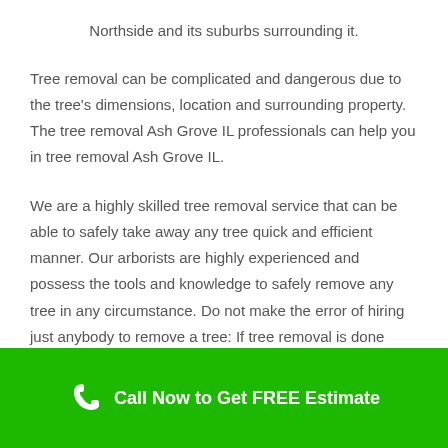Northside and its suburbs surrounding it.
Tree removal can be complicated and dangerous due to the tree's dimensions, location and surrounding property. The tree removal Ash Grove IL professionals can help you in tree removal Ash Grove IL.
We are a highly skilled tree removal service that can be able to safely take away any tree quick and efficient manner. Our arborists are highly experienced and possess the tools and knowledge to safely remove any tree in any circumstance. Do not make the error of hiring just anybody to remove a tree: If tree removal is done improperly, you may incur additional charges due to personal injury or property damage. Contact us today!
Call Now to Get FREE Estimate